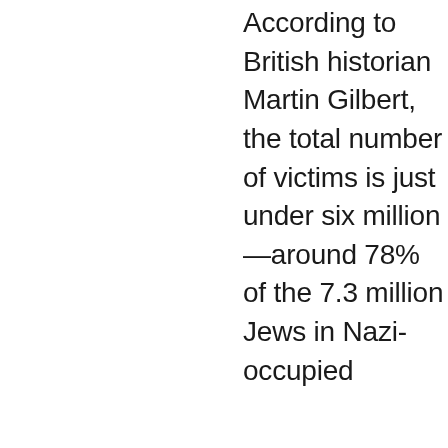According to British historian Martin Gilbert, the total number of victims is just under six million—around 78% of the 7.3 million Jews in Nazi-occupied